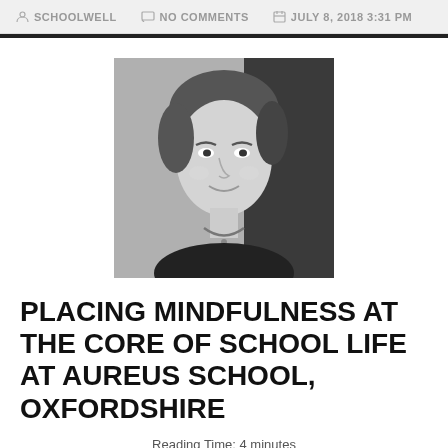SCHOOLWELL   NO COMMENTS   JULY 8, 2018 3:31 PM
[Figure (photo): Black and white portrait photo of a woman with short hair, smiling slightly, wearing a necklace]
PLACING MINDFULNESS AT THE CORE OF SCHOOL LIFE AT AUREUS SCHOOL, OXFORDSHIRE
Reading Time: 4 minutes